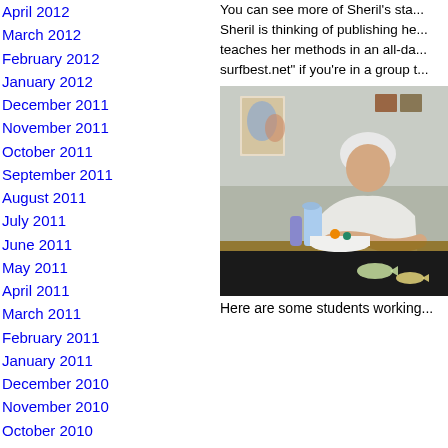April 2012
March 2012
February 2012
January 2012
December 2011
November 2011
October 2011
September 2011
August 2011
July 2011
June 2011
May 2011
April 2011
March 2011
February 2011
January 2011
December 2010
November 2010
October 2010
September 2010
August 2010
July 2010
You can see more of Sheril's sta... Sheril is thinking of publishing he... teaches her methods in an all-da... surfbest.net" if you're in a group t...
[Figure (photo): An elderly woman with white hair working on a quilting/appliqué project at a table in what appears to be a classroom or workshop setting. Black fabric with appliquéd fish shapes is visible in the foreground.]
Here are some students working...